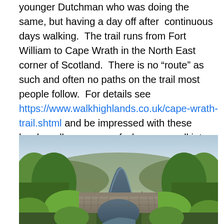younger Dutchman who was doing the same, but having a day off after  continuous days walking.  The trail runs from Fort William to Cape Wrath in the North East corner of Scotland.  There is no “route” as such and often no paths on the trail most people follow.  For details see https://www.walkhighlands.co.uk/cape-wrath-trail.shtml and be impressed with these hardy walkers, some of whom are well into retirement.  We chatted and then said our goodbyes, only to find the nice Dutchman, whose name we never got, insisted on paying for our coffee.  Thank you kind sir!
[Figure (photo): A stone arch bridge over a rocky stream, surrounded by green trees and shrubs, with a cloudy sky and hills in the background.]